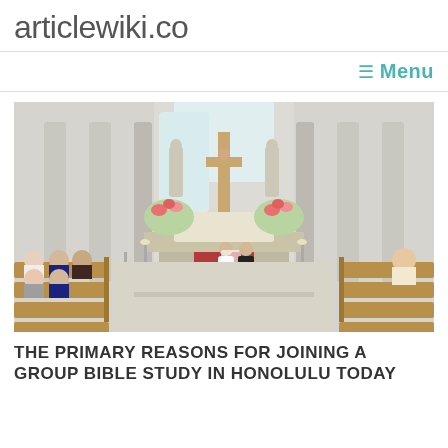articlewiki.co
Menu
[Figure (photo): Interior of a Catholic church during a wedding ceremony. A bride in white and groom in black stand at the altar. Wooden pews with seated guests line the aisle. Large cross with crucifix at the altar, flanked by floral arrangements. White columns and statues visible.]
THE PRIMARY REASONS FOR JOINING A GROUP BIBLE STUDY IN HONOLULU TODAY